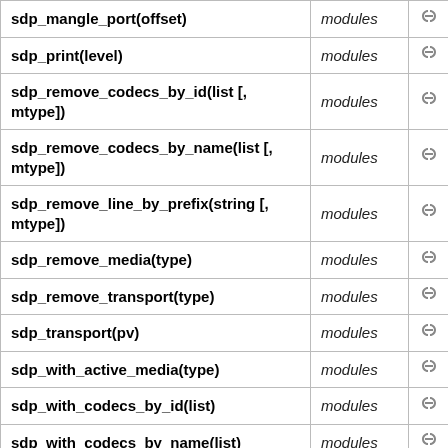| sdp_mangle_port(offset) | modules | 🔗 |
| sdp_print(level) | modules | 🔗 |
| sdp_remove_codecs_by_id(list [, mtype]) | modules | 🔗 |
| sdp_remove_codecs_by_name(list [, mtype]) | modules | 🔗 |
| sdp_remove_line_by_prefix(string [, mtype]) | modules | 🔗 |
| sdp_remove_media(type) | modules | 🔗 |
| sdp_remove_transport(type) | modules | 🔗 |
| sdp_transport(pv) | modules | 🔗 |
| sdp_with_active_media(type) | modules | 🔗 |
| sdp_with_codecs_by_id(list) | modules | 🔗 |
| sdp_with_codecs_by_name(list) | modules | 🔗 |
| sdp_with_ice() | modules | 🔗 |